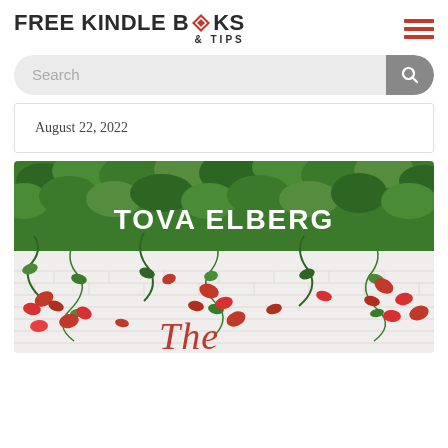[Figure (logo): Free Kindle Books & Tips logo with red diamond shape in 'Books' word]
[Figure (screenshot): Search bar with magnifying glass button on grey rounded background]
August 22, 2022
[Figure (photo): Book cover showing 'TOVA ELBERG' text over green ivy on white brick wall with red flowers, and cursive text 'The' beginning at bottom]